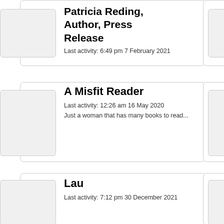Patricia Reding, Author, Press Release
Last activity: 6:49 pm 7 February 2021
A Misfit Reader
Last activity: 12:26 am 16 May 2020
Just a woman that has many books to read...
Lau
Last activity: 7:12 pm 30 December 2021